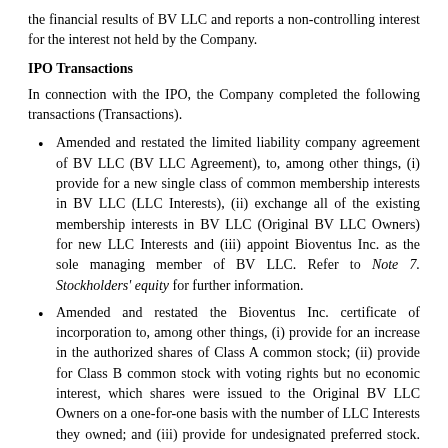the financial results of BV LLC and reports a non-controlling interest for the interest not held by the Company.
IPO Transactions
In connection with the IPO, the Company completed the following transactions (Transactions).
Amended and restated the limited liability company agreement of BV LLC (BV LLC Agreement), to, among other things, (i) provide for a new single class of common membership interests in BV LLC (LLC Interests), (ii) exchange all of the existing membership interests in BV LLC (Original BV LLC Owners) for new LLC Interests and (iii) appoint Bioventus Inc. as the sole managing member of BV LLC. Refer to Note 7. Stockholders' equity for further information.
Amended and restated the Bioventus Inc. certificate of incorporation to, among other things, (i) provide for an increase in the authorized shares of Class A common stock; (ii) provide for Class B common stock with voting rights but no economic interest, which shares were issued to the Original BV LLC Owners on a one-for-one basis with the number of LLC Interests they owned; and (iii) provide for undesignated preferred stock. Refer to Note 7. Stockholders' equity for further information.
Acquired, by merger, ten entities that were Original BV LLC Owners (Former LLC Owners), for which the Company issued 31,838,589 shares of Class A common stock as merger consideration (IPO Mergers). The only assets held by the Former LLC Owners were